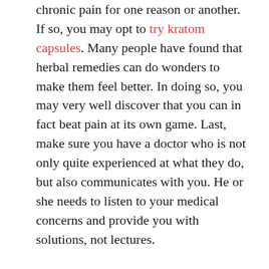chronic pain for one reason or another. If so, you may opt to try kratom capsules. Many people have found that herbal remedies can do wonders to make them feel better. In doing so, you may very well discover that you can in fact beat pain at its own game. Last, make sure you have a doctor who is not only quite experienced at what they do, but also communicates with you. He or she needs to listen to your medical concerns and provide you with solutions, not lectures.
2. Diet – In being a busy mother, you may at times neglect what your body needs when it comes to a healthy diet. Do your best to make sure you are getting all the right foods. Doing otherwise can lead to tiredness and even health issues over time. If not sure about what you should be putting in your body, consult your doctor and even a nutritionist. From fruits and vegetables to lying off fatty